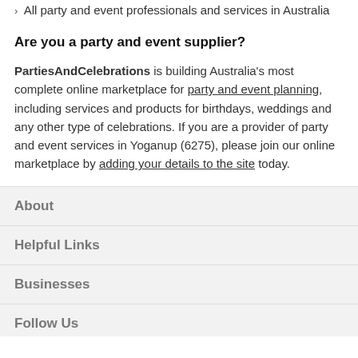All party and event professionals and services in Australia
Are you a party and event supplier?
PartiesAndCelebrations is building Australia's most complete online marketplace for party and event planning, including services and products for birthdays, weddings and any other type of celebrations. If you are a provider of party and event services in Yoganup (6275), please join our online marketplace by adding your details to the site today.
About
Helpful Links
Businesses
Follow Us